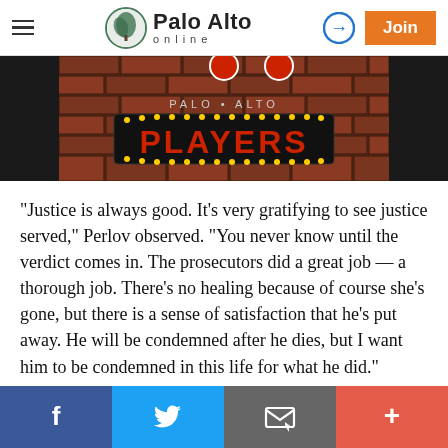Palo Alto online
[Figure (photo): Palo Alto Players sign on a brick wall with marquee lights spelling PLAYERS]
"Justice is always good. It's very gratifying to see justice served," Perlov observed. "You never know until the verdict comes in. The prosecutors did a great job — a thorough job. There's no healing because of course she's gone, but there is a sense of satisfaction that he's put away. He will be condemned after he dies, but I want him to be condemned in this life for what he did."
Facebook | Twitter | Email | More